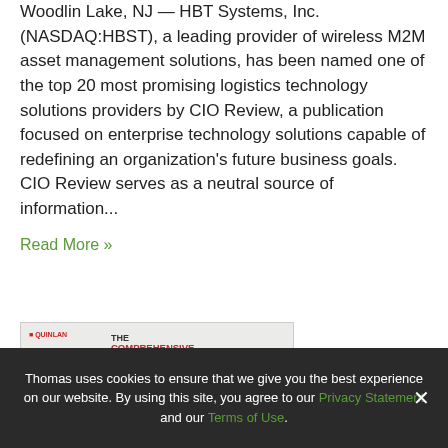Woodlin Lake, NJ — HBT Systems, Inc. (NASDAQ:HBST), a leading provider of wireless M2M asset management solutions, has been named one of the top 20 most promising logistics technology solutions providers by CIO Review, a publication focused on enterprise technology solutions capable of redefining an organization's future business goals. CIO Review serves as a neutral source of information...
Read More »
[Figure (infographic): Infographic thumbnail showing 'The Comprehensive Solution for Track & Trace' with MWI logo and a diagram of connected boxes/systems.]
Thomas uses cookies to ensure that we give you the best experience on our website. By using this site, you agree to our Privacy Statement and our Terms of Use.